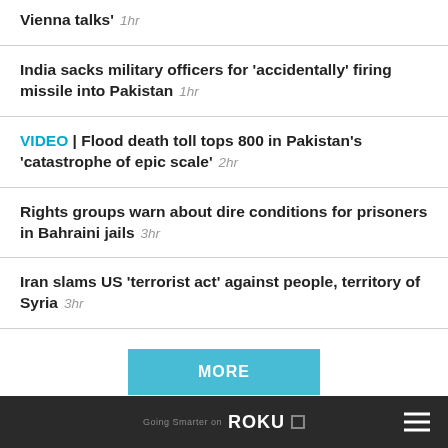Vienna talks' 1hr
India sacks military officers for 'accidentally' firing missile into Pakistan 1hr
VIDEO | Flood death toll tops 800 in Pakistan's 'catastrophe of epic scale' 2hr
Rights groups warn about dire conditions for prisoners in Bahraini jails 3hr
Iran slams US 'terrorist act' against people, territory of Syria 3hr
RELATED ARTICLES